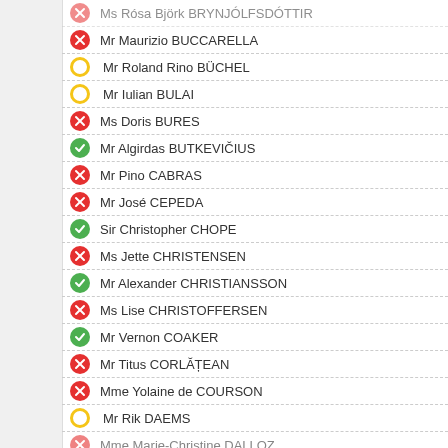Ms Rósa Björk BRYNJÓLFSDÓTTIR
Mr Maurizio BUCCARELLA
Mr Roland Rino BÜCHEL
Mr Iulian BULAI
Ms Doris BURES
Mr Algirdas BUTKEVIČIUS
Mr Pino CABRAS
Mr José CEPEDA
Sir Christopher CHOPE
Ms Jette CHRISTENSEN
Mr Alexander CHRISTIANSSON
Ms Lise CHRISTOFFERSEN
Mr Vernon COAKER
Mr Titus CORLĂȚEAN
Mme Yolaine de COURSON
Mr Rik DAEMS
Mme Marie-Christine DALLOZ